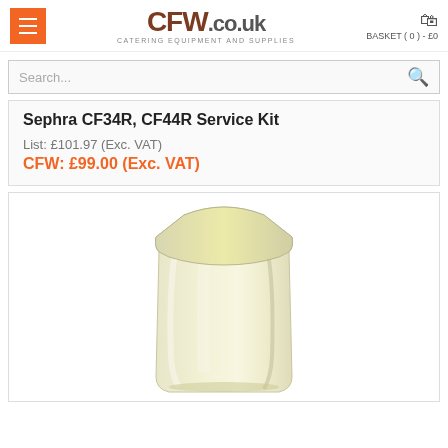CFW.CO.UK CATERING EQUIPMENT AND SUPPLIES | BASKET ( 0 ) - £0
Search...
Sephra CF34R, CF44R Service Kit
List: £101.97 (Exc. VAT)
CFW: £99.00 (Exc. VAT)
[Figure (photo): A cream/off-white colored resealable plastic bag containing powder or similar product, photographed against a white background.]